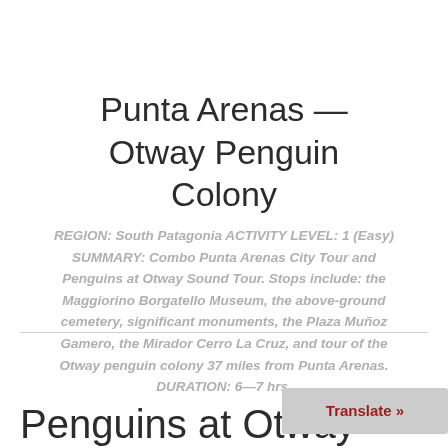Punta Arenas — Otway Penguin Colony
REGION: South Patagonia ACTIVITY LEVEL: 1 (Easy) SUMMARY: Combo Punta Arenas City Tour and Penguins at Otway Sound Tour. Stops include: the Maggiorino Borgatello Museum, the above-ground cemetery, significant monuments, the Plaza Muñoz Gamero, the Mirador Cerro La Cruz, and tour of the Otway penguin colony 37 miles from Punta Arenas. DURATION: 6—7 hrs.
Penguins at Otway